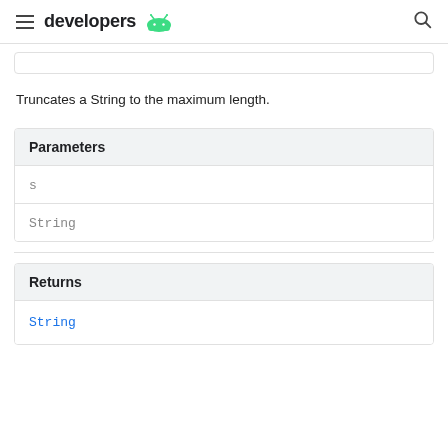developers
Truncates a String to the maximum length.
| Parameters |
| --- |
| s |
| String |
| Returns |
| --- |
| String |